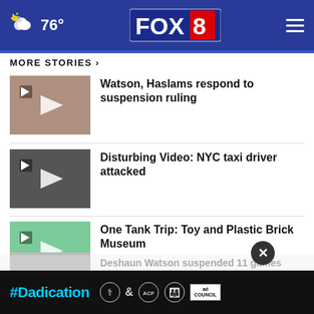FOX 8 | 76°
MORE STORIES ›
[Figure (screenshot): Video thumbnail of man in suit]
Watson, Haslams respond to suspension ruling
[Figure (screenshot): Video thumbnail of NYC taxi attack]
Disturbing Video: NYC taxi driver attacked
[Figure (screenshot): Video thumbnail of Toy and Plastic Brick Museum]
One Tank Trip: Toy and Plastic Brick Museum
[Figure (screenshot): Video thumbnail of New Tractor Supply store]
New Tractor Supply opens in Broadview Heights
[Figure (screenshot): Partial thumbnail - Trump Organization story]
Trump Organization CFO pleads guilty
[Figure (screenshot): Partial thumbnail - Deshaun Watson story]
Deshaun Watson suspended 11 games
[Figure (screenshot): Ad banner: #Dadication with ACF and Ad Council logos]